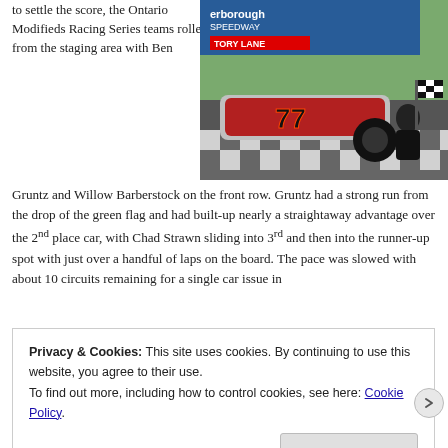to settle the score, the Ontario Modifieds Racing Series teams rolled from the staging area with Ben
[Figure (photo): Racing car number 77 at a checkered flag finish line, with a driver kneeling beside it holding a checkered flag, at Peterborough Speedway.]
Gruntz and Willow Barberstock on the front row. Gruntz had a strong run from the drop of the green flag and had built-up nearly a straightaway advantage over the 2nd place car, with Chad Strawn sliding into 3rd and then into the runner-up spot with just over a handful of laps on the board. The pace was slowed with about 10 circuits remaining for a single car issue in
Privacy & Cookies: This site uses cookies. By continuing to use this website, you agree to their use.
To find out more, including how to control cookies, see here: Cookie Policy
Close and accept